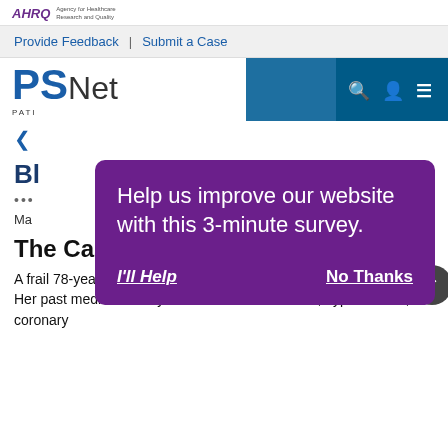AHRQ Agency for Healthcare Research and Quality
Provide Feedback | Submit a Case
PSNet PATIENT SAFETY NETWORK
< [breadcrumb navigation]
Bl[ood Thinner Overdose]
•••
Ma[rch ...]
[Figure (screenshot): Purple modal overlay dialog on PSNet website asking users to help improve the website with a 3-minute survey. Contains 'I'll Help' and 'No Thanks' links.]
The Case
A frail 78-year-old woman fell at home and fractured her left hip. Her past medical history included atrial fibrillation, hypertension, coronary